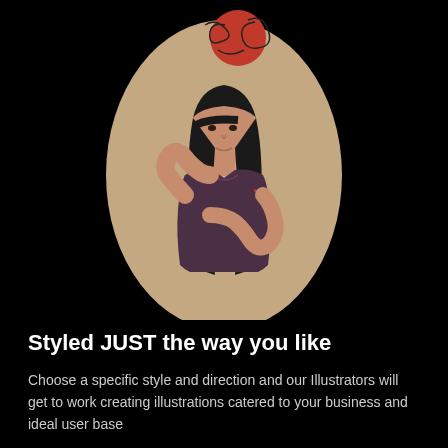[Figure (illustration): Flat style illustration of a young woman with long black hair, wearing a dark purple shirt, resting her hand on her forehead in a thoughtful pose. She is set against a large beige/tan oval background shape. Above her head is a red circle with abstract scribble lines around it, suggesting ideas or thoughts. The overall background of the image is black.]
Styled JUST the way you like
Choose a specific style and direction and our Illustrators will get to work creating illustrations catered to your business and ideal user base